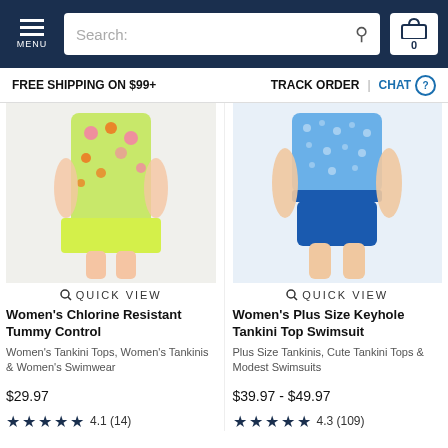MENU | Search: | 0
FREE SHIPPING ON $99+   TRACK ORDER | CHAT
[Figure (photo): Women's swimsuit model wearing yellow floral tankini top with yellow swim skirt]
QUICK VIEW
Women's Chlorine Resistant Tummy Control
Women's Tankini Tops, Women's Tankinis & Women's Swimwear
$29.97
4.1 (14)
[Figure (photo): Women's plus size model wearing blue patterned tankini top with solid blue bikini bottom]
QUICK VIEW
Women's Plus Size Keyhole Tankini Top Swimsuit
Plus Size Tankinis, Cute Tankini Tops & Modest Swimsuits
$39.97 - $49.97
4.3 (109)